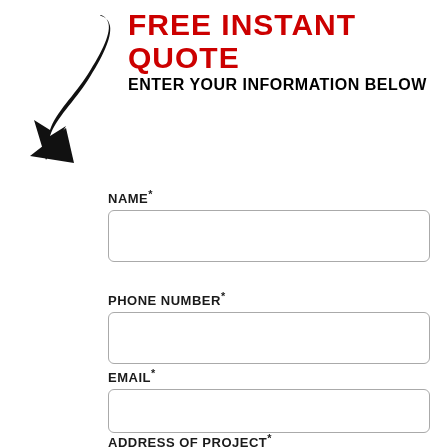[Figure (illustration): Large black curved arrow pointing downward to the right, with red bold text 'FREE INSTANT QUOTE' above and black bold text 'ENTER YOUR INFORMATION BELOW' below it]
NAME*
PHONE NUMBER*
EMAIL*
ADDRESS OF PROJECT*